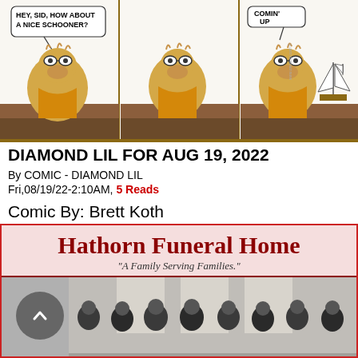[Figure (illustration): Three-panel comic strip 'Diamond Lil' featuring a cow character at a bar. Panel 1: cow says 'HEY, SID, HOW ABOUT A NICE SCHOONER?' Panel 2: bartender replies 'COMIN' UP'. Panel 3: cow is served a model sailboat (schooner).]
DIAMOND LIL FOR AUG 19, 2022
By COMIC - DIAMOND LIL
Fri,08/19/22-2:10AM, 5 Reads
Comic By: Brett Koth
Click Here to Read More
[Figure (advertisement): Hathorn Funeral Home advertisement. Pink/red background with dark red border. Header text: 'Hathorn Funeral Home' in large serif font. Tagline: 'A Family Serving Families.' Below is a photo of a group of people in suits standing together indoors, with a back/navigation button on the left side.]